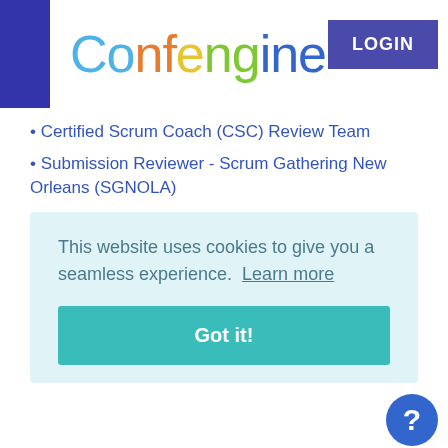Confengine LOGIN
Certified Scrum Coach (CSC) Review Team
Submission Reviewer - Scrum Gathering New Orleans (SGNOLA)
Provisional Trainer Approval Committee (PTAC)
Submission Reviewer - Scrum Gathering New Orleans (SGNOLA)
Coaches' Clinic Facilitator - Scrum Gathering Paris (SGCDG)
This website uses cookies to give you a seamless experience.  Learn more
Got it!